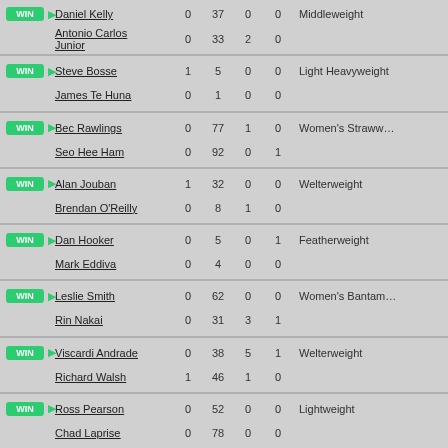| Result | Fighter | Col1 | Col2 | Col3 | Col4 | Weight Class |
| --- | --- | --- | --- | --- | --- | --- |
| WIN | Daniel Kelly | 0 | 37 | 0 | 0 | Middleweight |
|  | Antonio Carlos Junior | 0 | 33 | 2 | 0 |  |
| WIN | Steve Bosse | 1 | 5 | 0 | 0 | Light Heavyweight |
|  | James Te Huna | 0 | 1 | 0 | 0 |  |
| WIN | Bec Rawlings | 0 | 77 | 1 | 0 | Women's Strawweight |
|  | Seo Hee Ham | 0 | 92 | 0 | 1 |  |
| WIN | Alan Jouban | 1 | 32 | 0 | 0 | Welterweight |
|  | Brendan O'Reilly | 0 | 8 | 1 | 0 |  |
| WIN | Dan Hooker | 0 | 5 | 0 | 1 | Featherweight |
|  | Mark Eddiva | 0 | 4 | 0 | 0 |  |
| WIN | Leslie Smith | 0 | 62 | 0 | 0 | Women's Bantamweight |
|  | Rin Nakai | 0 | 31 | 3 | 1 |  |
| WIN | Viscardi Andrade | 0 | 38 | 5 | 1 | Welterweight |
|  | Richard Walsh | 1 | 46 | 1 | 0 |  |
| WIN | Ross Pearson | 0 | 52 | 0 | 0 | Lightweight |
|  | Chad Laprise | 0 | 78 | 0 | 0 |  |